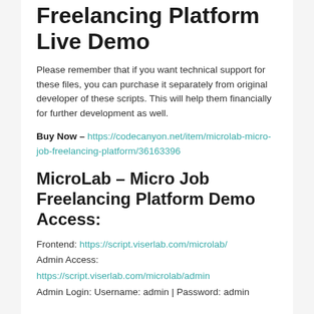Freelancing Platform Live Demo
Please remember that if you want technical support for these files, you can purchase it separately from original developer of these scripts. This will help them financially for further development as well.
Buy Now – https://codecanyon.net/item/microlab-micro-job-freelancing-platform/36163396
MicroLab – Micro Job Freelancing Platform Demo Access:
Frontend: https://script.viserlab.com/microlab/
Admin Access:
https://script.viserlab.com/microlab/admin
Admin Login: Username: admin | Password: admin